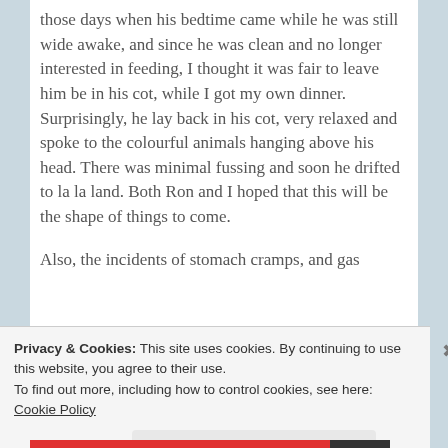those days when his bedtime came while he was still wide awake, and since he was clean and no longer interested in feeding, I thought it was fair to leave him be in his cot, while I got my own dinner. Surprisingly, he lay back in his cot, very relaxed and spoke to the colourful animals hanging above his head. There was minimal fussing and soon he drifted to la la land. Both Ron and I hoped that this will be the shape of things to come.
Also, the incidents of stomach cramps, and gas
Privacy & Cookies: This site uses cookies. By continuing to use this website, you agree to their use.
To find out more, including how to control cookies, see here: Cookie Policy
Close and accept